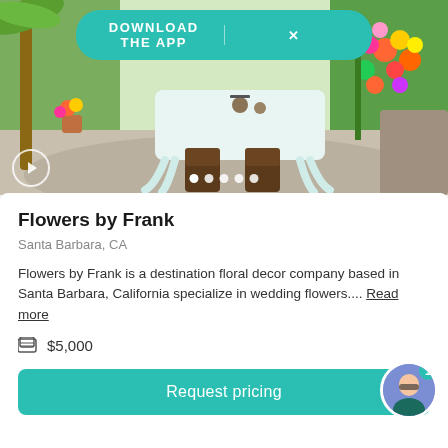[Figure (photo): Outdoor wedding table setting with white ornate table, brown wooden chairs, colorful floral arrangements on the right side, and a tropical/garden background]
DOWNLOAD THE APP
Flowers by Frank
Santa Barbara, CA
Flowers by Frank is a destination floral decor company based in Santa Barbara, California specialize in wedding flowers.... Read more
$5,000
Request pricing